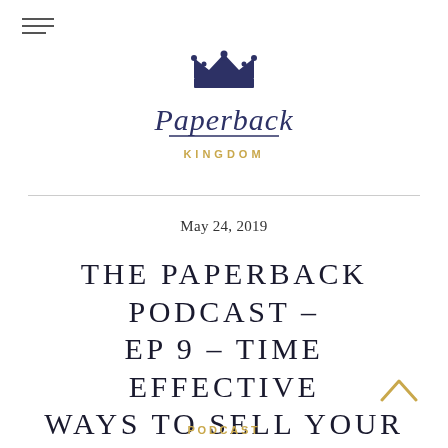[Figure (logo): Paperback Kingdom logo with crown icon above stylized script 'Paperback' and sans-serif 'KINGDOM' in gold beneath]
May 24, 2019
THE PAPERBACK PODCAST – EP 9 – TIME EFFECTIVE WAYS TO SELL YOUR BOOKS
PODCAST